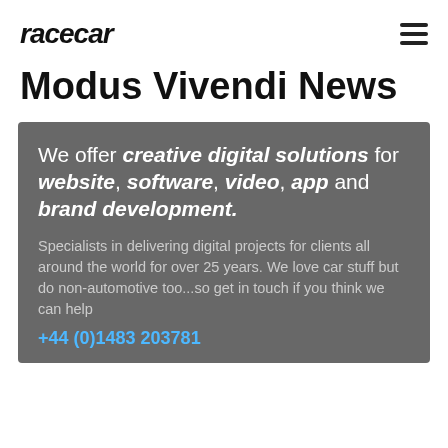racecar
Modus Vivendi News
We offer creative digital solutions for website, software, video, app and brand development.

Specialists in delivering digital projects for clients all around the world for over 25 years. We love car stuff but do non-automotive too...so get in touch if you think we can help

+44 (0)1483 203781